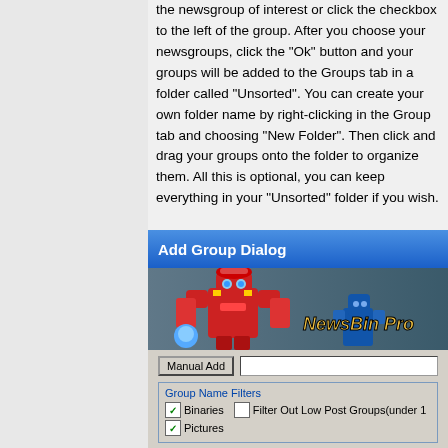the newsgroup of interest or click the checkbox to the left of the group. After you choose your newsgroups, click the "Ok" button and your groups will be added to the Groups tab in a folder called "Unsorted". You can create your own folder name by right-clicking in the Group tab and choosing "New Folder". Then click and drag your groups onto the folder to organize them. All this is optional, you can keep everything in your "Unsorted" folder if you wish.
[Figure (screenshot): Screenshot of the NewsBin Pro Add Group Dialog showing Manual Add button, Group Name Filters with Binaries and Pictures checkboxes checked, Filter Out Low Post Groups checkbox unchecked, a search box with 'auto' typed, a Search button, and a bottom bar saying 'Mark Groups using the mouse or cursor Keys. Then hit']